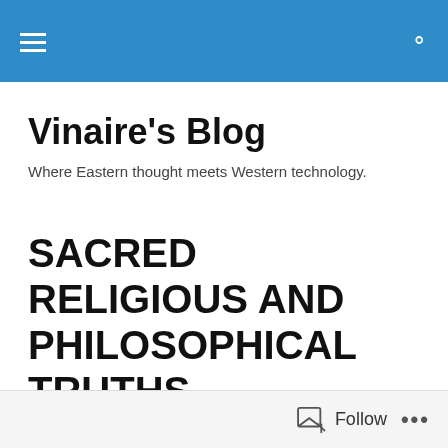Vinaire's Blog — navigation bar
Vinaire's Blog
Where Eastern thought meets Western technology.
SACRED RELIGIOUS AND PHILOSOPHICAL TRUTHS
[Figure (illustration): A stylized black bird (eagle or similar) with spread wings, rendered as a decorative logo or emblem in black silhouette.]
Follow  •••